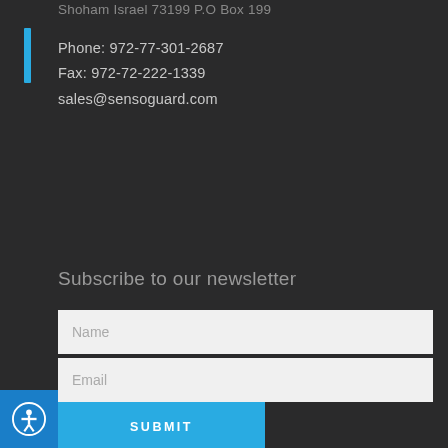Shoham Israel 73199 P.O Box 199
Phone: 972-77-301-2687
Fax: 972-72-222-1339
sales@sensoguard.com
Subscribe to our newsletter
Name
Email
SUBMIT